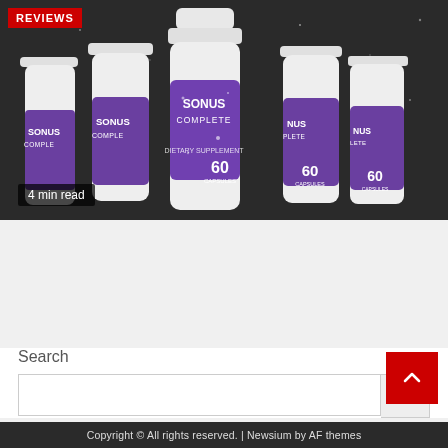[Figure (photo): Multiple white supplement bottles with purple labels reading 'SONUS COMPLETE' with '60 CAPSULES' text, arranged in a group against a dark background. A red 'REVIEWS' badge is in the top-left corner. A black semi-transparent '4 min read' badge appears at the bottom-left.]
Sonus Complete: Scam or Legit? Ingredients Exposed!
6 days ago   Ruby Smith
Search
Copyright © All rights reserved. | Newsium by AF themes